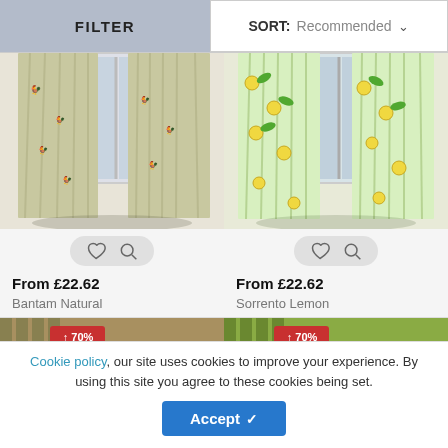FILTER   SORT: Recommended
[Figure (photo): Bantam Natural curtain in beige/cream with rooster pattern hanging in window]
[Figure (photo): Sorrento Lemon curtain with bright yellow lemon and green leaf pattern hanging in window]
From £22.62
Bantam Natural
From £22.62
Sorrento Lemon
[Figure (photo): Partial curtain product image with up to 70% sale badge]
[Figure (photo): Partial curtain product image with up to 70% sale badge]
Cookie policy, our site uses cookies to improve your experience. By using this site you agree to these cookies being set.
Accept ✓